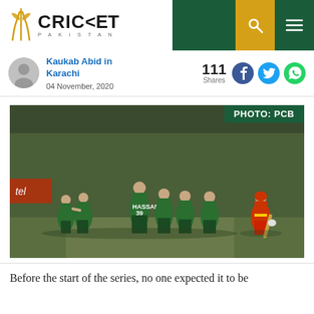Cricket Pakistan
Kaukab Abid in Karachi
04 November, 2020
111 Shares
[Figure (photo): Pakistan cricket team players in green jerseys celebrating a wicket, with a Zimbabwe batsman in red/yellow walking off. Text overlay: PHOTO: PCB]
PHOTO: PCB
Before the start of the series, no one expected it to be